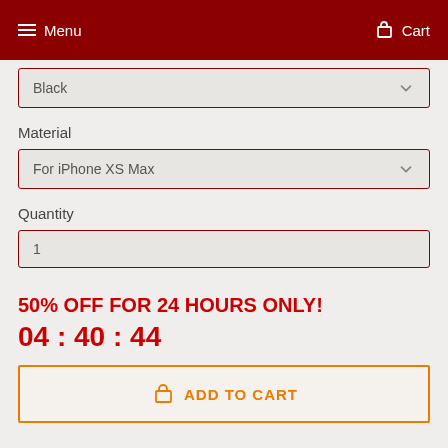Menu  Cart
Black
Material
For iPhone XS Max
Quantity
1
50% OFF FOR 24 HOURS ONLY!
04 : 40 : 44
ADD TO CART